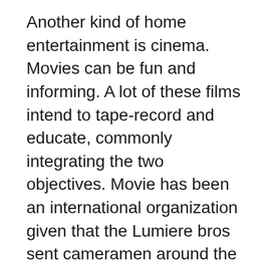Another kind of home entertainment is cinema. Movies can be fun and informing. A lot of these films intend to tape-record and educate, commonly integrating the two objectives. Movie has been an international organization given that the Lumiere bros sent cameramen around the globe, instructing them to movie anything that caught their focus. The newsreel was born in 1908, and also World war brought about a boosted need for mass entertainment. The popularity of movies in the 1920s was an indication that mass home entertainment was needed. [citation]
The categories of home entertainment differ commonly. Entertainment is typically categorized